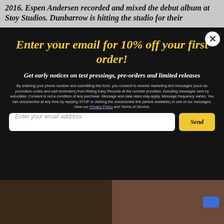2016. Espen Andersen recorded and mixed the debut album at Stoy Studios. Dunbarrow is hitting the studio for their
[Figure (screenshot): Email signup modal popup with dark background. Contains headline 'Enter your email for 10% off your first order!', subtitle 'Get early notices on test pressings, pre-orders and limited releases', legal disclaimer text, Privacy Policy link, email address input field, and yellow Send button. Close X button in top right corner.]
[Figure (photo): Two dark photos side by side at bottom of page. Left: dark figure/animal silhouette. Right: person with blue item visible.]